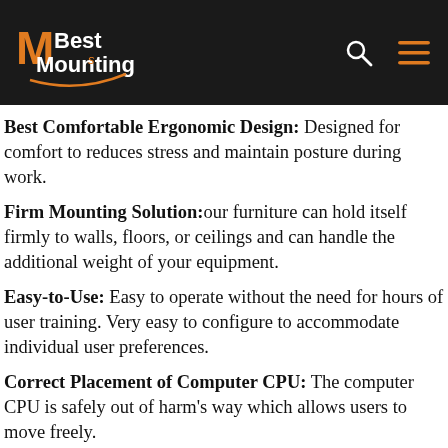MBest Mounting
Best Comfortable Ergonomic Design: Designed for comfort to reduces stress and maintain posture during work.
Firm Mounting Solution: our furniture can hold itself firmly to walls, floors, or ceilings and can handle the additional weight of your equipment.
Easy-to-Use: Easy to operate without the need for hours of user training. Very easy to configure to accommodate individual user preferences.
Correct Placement of Computer CPU: The computer CPU is safely out of harm's way which allows users to move freely.
Built-to-Specifications: Can be specified to accommodate...